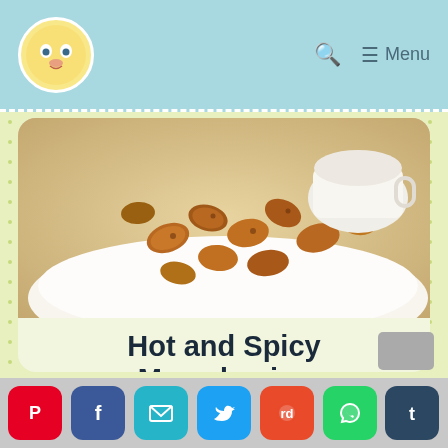Hot and Spicy Macadamias - Recipe site header with logo and menu
[Figure (photo): Close-up photo of hot and spicy roasted macadamia nuts scattered on a white plate]
Hot and Spicy Macadamias
4 from 7 votes
Print | Rate
Prep Time: 15 minutes
[Figure (other): Social media sharing buttons: Pinterest, Facebook, Email, Twitter, Reddit, WhatsApp, Tumblr]